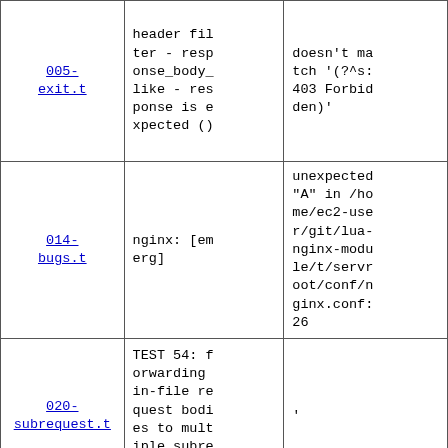| 005-exit.t | header filter - response_body_like - response is expected () | doesn't match '(?^s: 403 Forbidden)' |
| 014-bugs.t | nginx: [emerg] | unexpected "A" in /home/ec2-user/git/lua-nginx-module/t/servroot/conf/nginx.conf:26 |
| 020-subrequest.t | TEST 54: forwarding in-file request bodies to multiple subrequests (ex | ' |